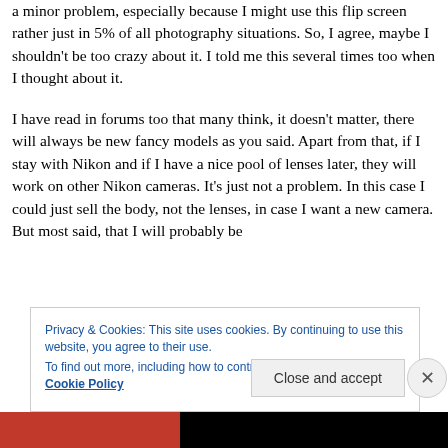a minor problem, especially because I might use this flip screen rather just in 5% of all photography situations. So, I agree, maybe I shouldn't be too crazy about it. I told me this several times too when I thought about it.
I have read in forums too that many think, it doesn't matter, there will always be new fancy models as you said. Apart from that, if I stay with Nikon and if I have a nice pool of lenses later, they will work on other Nikon cameras. It's just not a problem. In this case I could just sell the body, not the lenses, in case I want a new camera. But most said, that I will probably be
Privacy & Cookies: This site uses cookies. By continuing to use this website, you agree to their use.
To find out more, including how to control cookies, see here: Cookie Policy